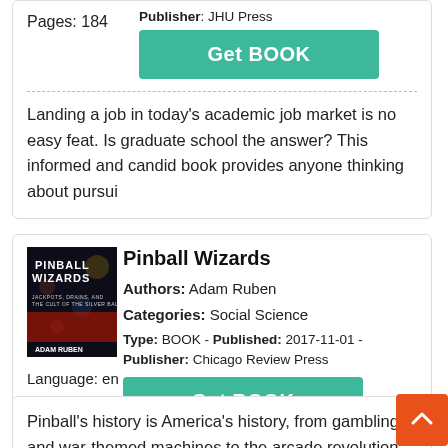Publisher: JHU Press
Pages: 184
Get BOOK
Landing a job in today's academic job market is no easy feat. Is graduate school the answer? This informed and candid book provides anyone thinking about pursui
[Figure (photo): Book cover of Pinball Wizards by Adam Ruben]
Pinball Wizards
Authors: Adam Ruben
Categories: Social Science
Type: BOOK - Published: 2017-11-01 - Publisher: Chicago Review Press
Language: en
Pages: 288
Get BOOK
Pinball's history is America's history, from gambling and war-themed machines to the arcade revolution